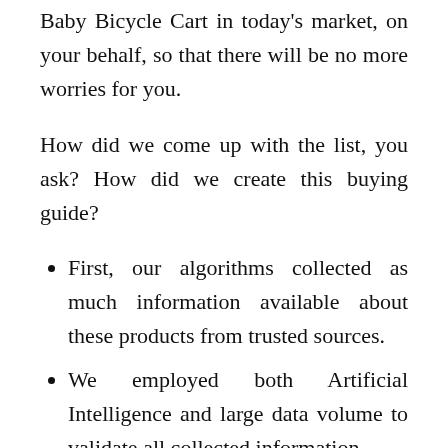Baby Bicycle Cart in today's market, on your behalf, so that there will be no more worries for you.
How did we come up with the list, you ask? How did we create this buying guide?
First, our algorithms collected as much information available about these products from trusted sources.
We employed both Artificial Intelligence and large data volume to validate all collected information.
Then our AI ranked them on their quality-to-price ratio using industry-standard criteria